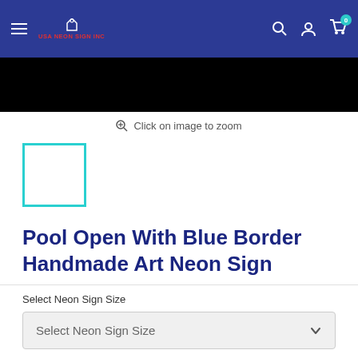USA NEON SIGN INC — navigation bar with logo, search, account, and cart icons
[Figure (photo): Product image area — black background showing partial neon sign]
Click on image to zoom
[Figure (photo): Thumbnail image with cyan/teal border — selected thumbnail for Pool Open neon sign]
Pool Open With Blue Border Handmade Art Neon Sign
Select Neon Sign Size
Select Neon Sign Size